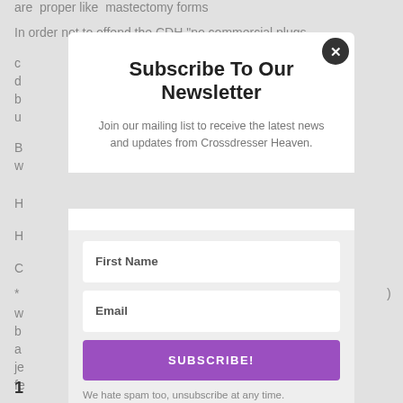are proper like mastectomy forms
In order not to offend the CDH “no commercial plugs
B
H
H
C
*
w b a je fe
[Figure (screenshot): Newsletter subscription modal overlay with title 'Subscribe To Our Newsletter', subtitle 'Join our mailing list to receive the latest news and updates from Crossdresser Heaven.', First Name input field, Email input field, SUBSCRIBE! button in purple, and spam note 'We hate spam too, unsubscribe at any time.' with a close button (x) in top right corner.]
1